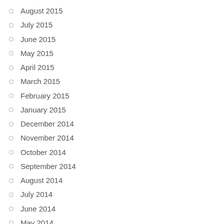August 2015
July 2015
June 2015
May 2015
April 2015
March 2015
February 2015
January 2015
December 2014
November 2014
October 2014
September 2014
August 2014
July 2014
June 2014
May 2014
April 2014
March 2014